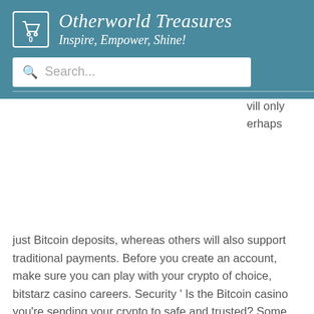Otherworld Treasures – Inspire, Empower, Shine!
just Bitcoin deposits, whereas others will also support traditional payments. Before you create an account, make sure you can play with your crypto of choice, bitstarz casino careers. Security ' Is the Bitcoin casino you're sending your crypto to safe and trusted? Some less well-known casinos might not have adequate security, and your funds could be at risk. Full list of countries prohibited by Cloudbet: USA UK Hong Kong Singapour, bitstarz casino careers. High betting limits 50% reload bonus Instant deposits Great VIP Club Perks, bitstarz 17 no deposit free spins code. Pédopsychiatrie forum - profil du membre &gt; profil page.